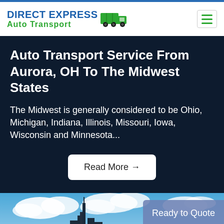DIRECT EXPRESS Auto Transport
Auto Transport Service From Aurora, OH To The Midwest States
The Midwest is generally considered to be Ohio, Michigan, Indiana, Illinois, Missouri, Iowa, Wisconsin and Minnesota...
Read More →
[Figure (photo): City skyline with blue sky and clouds, partial view of tall skyscrapers]
Ready to Quote